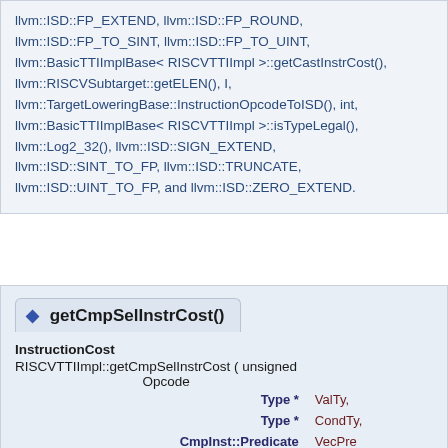llvm::ISD::FP_EXTEND, llvm::ISD::FP_ROUND, llvm::ISD::FP_TO_SINT, llvm::ISD::FP_TO_UINT, llvm::BasicTTIImplBase< RISCVTTIImpl >::getCastInstrCost(), llvm::RISCVSubtarget::getELEN(), I, llvm::TargetLoweringBase::InstructionOpcodeToISD(), int, llvm::BasicTTIImplBase< RISCVTTIImpl >::isTypeLegal(), llvm::Log2_32(), llvm::ISD::SIGN_EXTEND, llvm::ISD::SINT_TO_FP, llvm::ISD::TRUNCATE, llvm::ISD::UINT_TO_FP, and llvm::ISD::ZERO_EXTEND.
getCmpSelInstrCost()
InstructionCost RISCVTTIImpl::getCmpSelInstrCost ( unsigned Opcode, Type * ValTy, Type * CondTy, CmpInst::Predicate VecPred, TTI::TargetCostKind CostKind